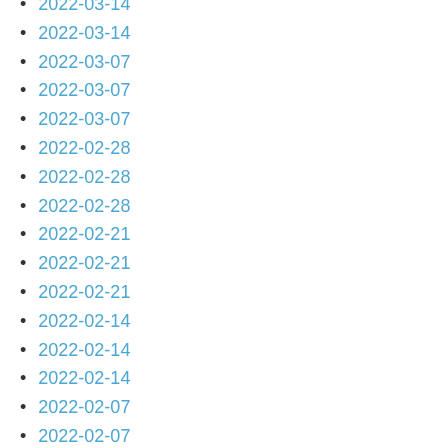2022-03-14
2022-03-14
2022-03-07
2022-03-07
2022-03-07
2022-02-28
2022-02-28
2022-02-28
2022-02-21
2022-02-21
2022-02-21
2022-02-14
2022-02-14
2022-02-14
2022-02-07
2022-02-07
2022-01-31
2022-01-31
2022-01-31
2022-01-24
2022-01-24
2022-01-24